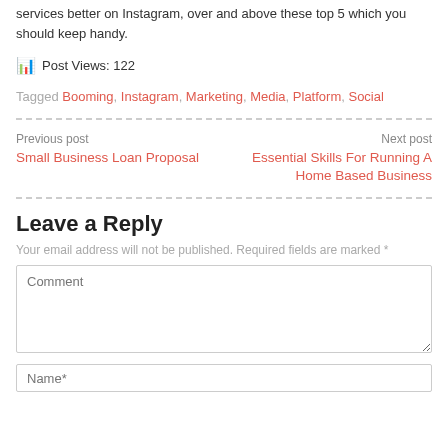services better on Instagram, over and above these top 5 which you should keep handy.
Post Views: 122
Tagged Booming, Instagram, Marketing, Media, Platform, Social
Previous post
Small Business Loan Proposal
Next post
Essential Skills For Running A Home Based Business
Leave a Reply
Your email address will not be published. Required fields are marked *
Comment
Name*